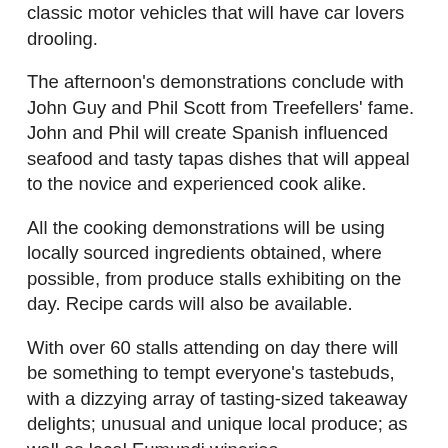classic motor vehicles that will have car lovers drooling.
The afternoon's demonstrations conclude with John Guy and Phil Scott from Treefellers' fame. John and Phil will create Spanish influenced seafood and tasty tapas dishes that will appeal to the novice and experienced cook alike.
All the cooking demonstrations will be using locally sourced ingredients obtained, where possible, from produce stalls exhibiting on the day. Recipe cards will also be available.
With over 60 stalls attending on day there will be something to tempt everyone's tastebuds, with a dizzying array of tasting-sized takeaway delights; unusual and unique local produce; as well as local Eumundi wineries.
Food Fest Coordinator Trent Harvison says, "The Food Fest will be the ideal setting to design your own gourmet picnic from the stalls around. Then sit back, relax and listen to local musicians including Harii Bandhu and Chad Shuttleworth"
"For the family there'll be rides and attractions, face painting,